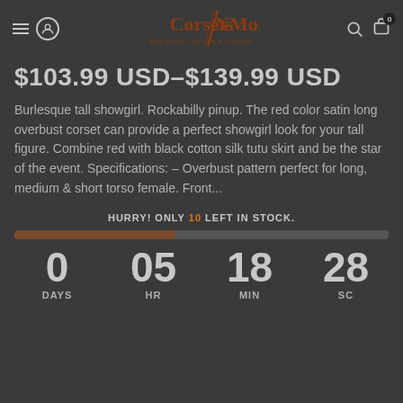Corsets N More
$103.99 USD–$139.99 USD
Burlesque tall showgirl. Rockabilly pinup. The red color satin long overbust corset can provide a perfect showgirl look for your tall figure. Combine red with black cotton silk tutu skirt and be the star of the event. Specifications: – Overbust pattern perfect for long, medium & short torso female. Front...
HURRY! ONLY 10 LEFT IN STOCK.
0 DAYS  05 HR  18 MIN  28 SC